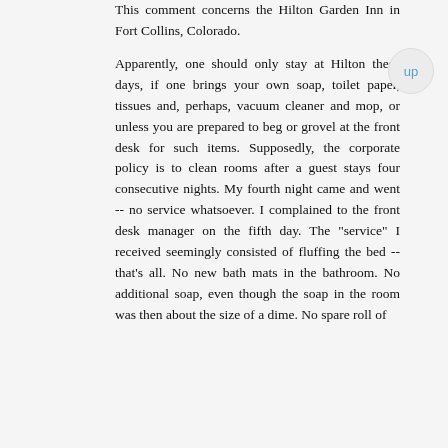This comment concerns the Hilton Garden Inn in Fort Collins, Colorado.
Apparently, one should only stay at Hilton these days, if one brings your own soap, toilet paper, tissues and, perhaps, vacuum cleaner and mop, or unless you are prepared to beg or grovel at the front desk for such items. Supposedly, the corporate policy is to clean rooms after a guest stays four consecutive nights. My fourth night came and went -- no service whatsoever. I complained to the front desk manager on the fifth day. The "service" I received seemingly consisted of fluffing the bed -- that's all. No new bath mats in the bathroom. No additional soap, even though the soap in the room was then about the size of a dime. No spare roll of
[Figure (other): Advertisement banner for Women's Fashion | Shop Online | VENUS with image, title, description, URL, close button, and arrow navigation button]